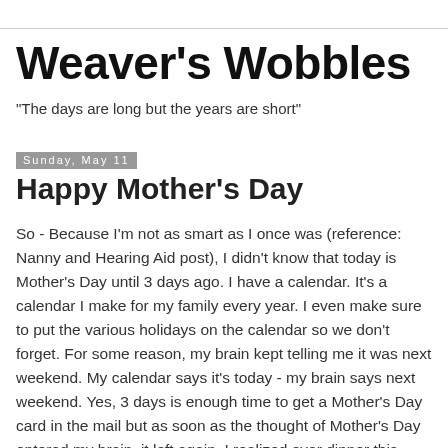Weaver's Wobbles
"The days are long but the years are short"
Sunday, May 11
Happy Mother's Day
So - Because I'm not as smart as I once was (reference: Nanny and Hearing Aid post), I didn't know that today is Mother's Day until 3 days ago. I have a calendar. It's a calendar I make for my family every year. I even make sure to put the various holidays on the calendar so we don't forget. For some reason, my brain kept telling me it was next weekend. My calendar says it's today - my brain says next weekend. Yes, 3 days is enough time to get a Mother's Day card in the mail but as soon as the thought of Mother's Day entered my brain, it left again. I realized over dinner this evening that I didn't get a card for my mom or either of my mother-in-laws. So, please consider this my card - "Happy